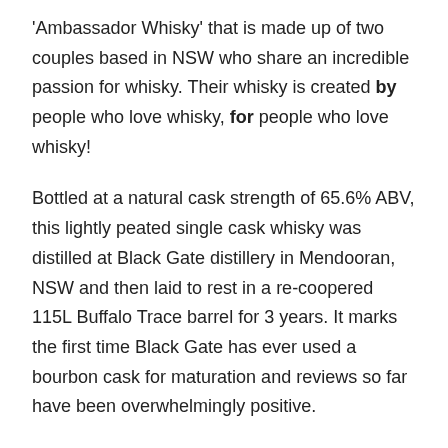'Ambassador Whisky' that is made up of two couples based in NSW who share an incredible passion for whisky. Their whisky is created by people who love whisky, for people who love whisky!
Bottled at a natural cask strength of 65.6% ABV, this lightly peated single cask whisky was distilled at Black Gate distillery in Mendooran, NSW and then laid to rest in a re-coopered 115L Buffalo Trace barrel for 3 years. It marks the first time Black Gate has ever used a bourbon cask for maturation and reviews so far have been overwhelmingly positive.
Our friends at Ambassador Whisky sent a small allocation our way and with only 62 bottles available, it won't be long till this expression is completely sold out.